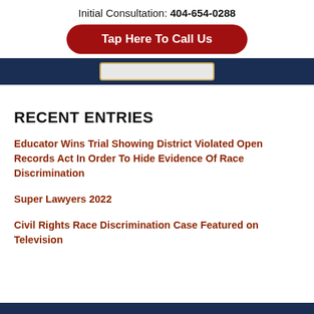Initial Consultation: 404-654-0288
Tap Here To Call Us
RECENT ENTRIES
Educator Wins Trial Showing District Violated Open Records Act In Order To Hide Evidence Of Race Discrimination
Super Lawyers 2022
Civil Rights Race Discrimination Case Featured on Television